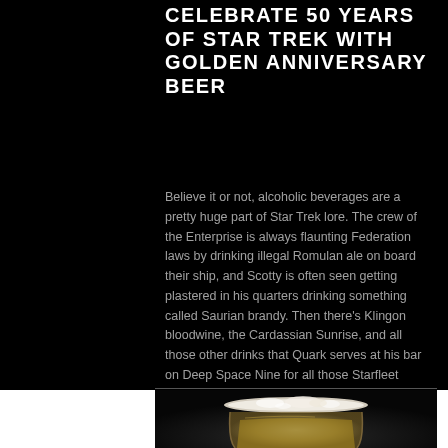CELEBRATE 50 YEARS OF STAR TREK WITH GOLDEN ANNIVERSARY BEER
Believe it or not, alcoholic beverages are a pretty huge part of Star Trek lore. The crew of the Enterprise is always flaunting Federation laws by drinking illegal Romulan ale on board their ship, and Scotty is often seen getting plastered in his quarters drinking something called Saurian brandy. Then there's Klingon bloodwine, the Cardassian Sunrise, and all those other drinks that Quark serves at his bar on Deep Space Nine for all those Starfleet lushes. In short, it's clea
[Figure (photo): A glass of beer with foam/head visible against a dark background, partially cropped at bottom of page]